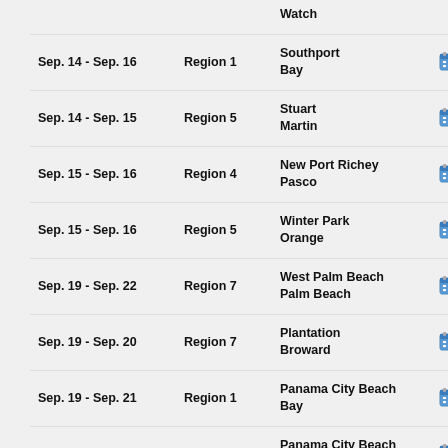| Date | Region | Location/County | Icon | Link |
| --- | --- | --- | --- | --- |
| Sep. 14 - Sep. 16 | Region 1 | Southport
Bay |  | EA... |
| Sep. 14 - Sep. 15 | Region 5 | Stuart
Martin |  | M... |
| Sep. 15 - Sep. 16 | Region 4 | New Port Richey
Pasco |  | 20... |
| Sep. 15 - Sep. 16 | Region 5 | Winter Park
Orange |  | G-... |
| Sep. 19 - Sep. 22 | Region 7 | West Palm Beach
Palm Beach |  | L-... |
| Sep. 19 - Sep. 20 | Region 7 | Plantation
Broward |  | 20... |
| Sep. 19 - Sep. 21 | Region 1 | Panama City Beach
Bay |  | G-... |
| Sep. 19 - Sep. 21 | Region 1 | Panama City Beach
Bay |  | G-... |
| Sep. 19 - Sep. 19 | Region 1 | Panama City Beach
Bay |  | G-... |